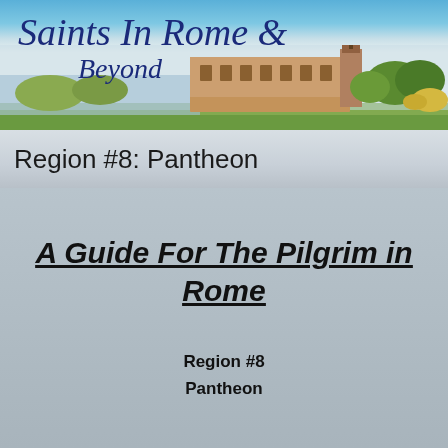[Figure (illustration): Saints In Rome & Beyond website banner header showing the text 'Saints In Rome & Beyond' in dark blue italic serif font overlaid on a cityscape/landscape photo with sky and buildings]
Region #8: Pantheon
A Guide For The Pilgrim in Rome
Region #8
Pantheon